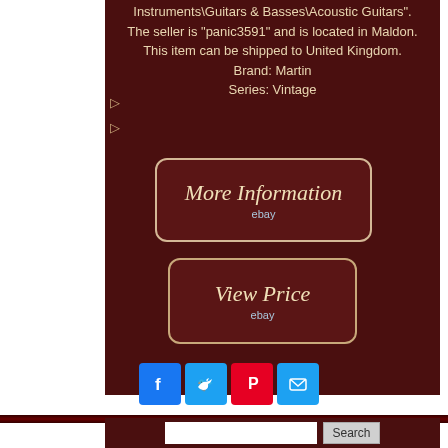Instruments\Guitars & Basses\Acoustic Guitars". The seller is "panic3591" and is located in Maldon. This item can be shipped to United Kingdom. Brand: Martin Series: Vintage
[Figure (infographic): More Information button with eBay branding, dark red/maroon background with tan border]
[Figure (infographic): View Price button with eBay branding, dark red/maroon background with tan border]
[Figure (infographic): Social sharing buttons row: Facebook (blue), Twitter (blue), Pinterest (red), Email (blue)]
Search